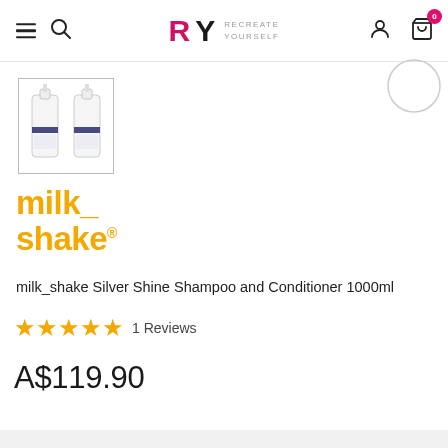RY RECREATE YOURSELF — navigation header with hamburger, search, logo, user, cart (0)
[Figure (photo): Thumbnail image of two white pump bottles of milk_shake Silver Shine Shampoo and Conditioner 1000ml side by side]
[Figure (logo): milk_shake brand logo in bold yellow/gold text]
milk_shake Silver Shine Shampoo and Conditioner 1000ml
★★★★★ 1 Reviews
A$119.90